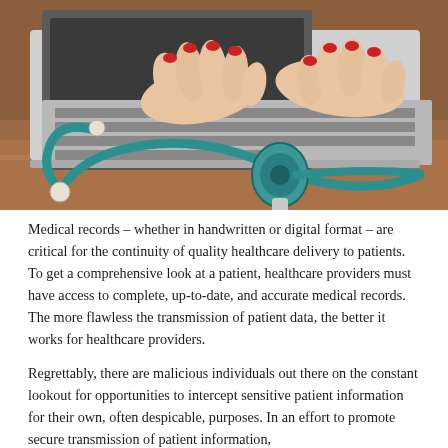[Figure (photo): Close-up photo of a person with red fingernails typing on a laptop keyboard, with a teal/turquoise stethoscope lying on a wooden surface in the foreground.]
Medical records – whether in handwritten or digital format – are critical for the continuity of quality healthcare delivery to patients. To get a comprehensive look at a patient, healthcare providers must have access to complete, up-to-date, and accurate medical records. The more flawless the transmission of patient data, the better it works for healthcare providers.
Regrettably, there are malicious individuals out there on the constant lookout for opportunities to intercept sensitive patient information for their own, often despicable, purposes. In an effort to promote secure transmission of patient information,